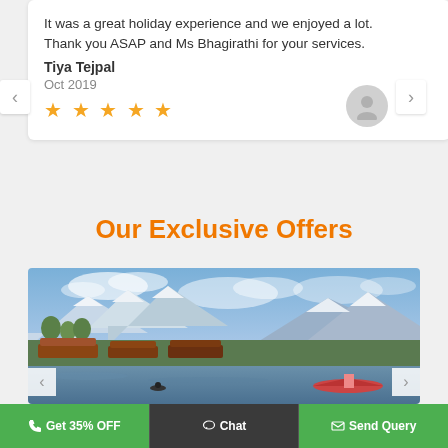It was a great holiday experience and we enjoyed a lot. Thank you ASAP and Ms Bhagirathi for your services. Tiya Tejpal
Oct 2019
★★★★★
Our Exclusive Offers
[Figure (photo): A scenic landscape photograph of Dal Lake in Kashmir showing houseboats on water, green trees, and snow-capped mountains in the background under a blue sky with clouds. A colorful shikara boat is visible on the right side of the water.]
📞 Get 35% OFF   💬 Chat   ✉ Send Query